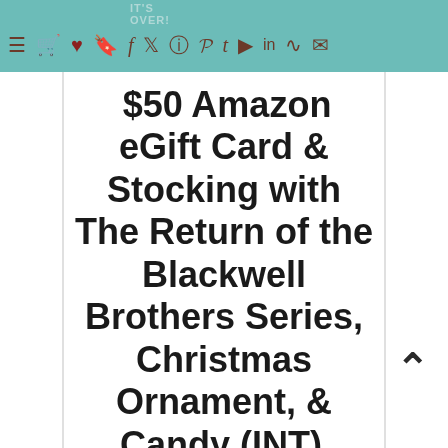IT'S OVER! — navigation bar with social media icons
$50 Amazon eGift Card & Stocking with The Return of the Blackwell Brothers Series, Christmas Ornament, & Candy (INT)
And the winner is...
Bridgett W.